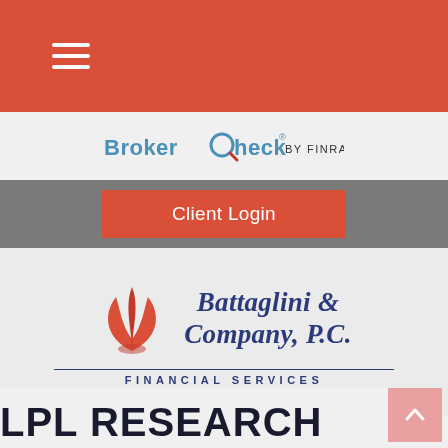Navigation menu (hamburger icon)
[Figure (logo): BrokerCheck by FINRA logo]
Client Login
[Figure (logo): Battaglini & Company, P.C. Financial Services logo with red leaf/flame icon and dark blue serif text]
LPL RESEARCH